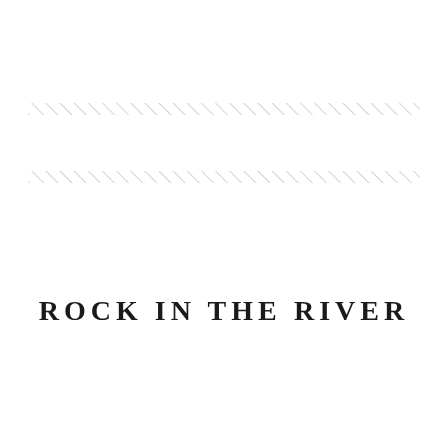[Figure (illustration): Two horizontal decorative bands made of repeating diagonal hatching lines, light gray in color, spanning nearly the full width of the page.]
ROCK IN THE RIVER